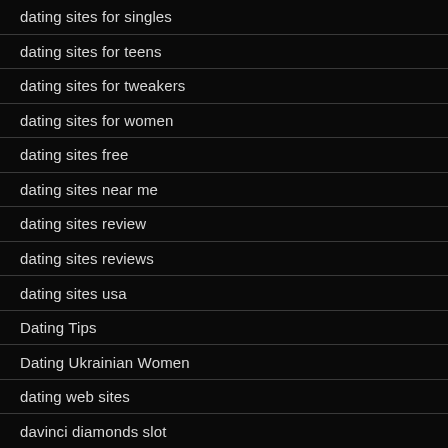dating sites for singles
dating sites for teens
dating sites for tweakers
dating sites for women
dating sites free
dating sites near me
dating sites review
dating sites reviews
dating sites usa
Dating Tips
Dating Ukrainian Women
dating web sites
davinci diamonds slot